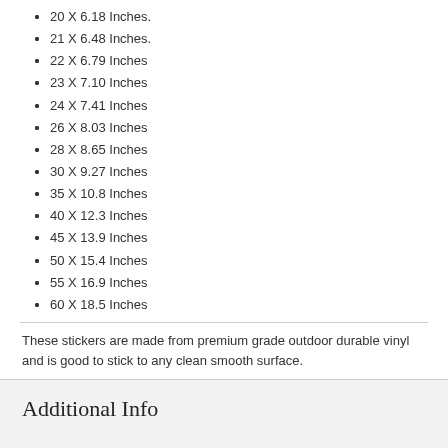20 X 6.18 Inches.
21 X 6.48 Inches.
22 X 6.79 Inches
23 X 7.10 Inches
24 X 7.41 Inches
26 X 8.03 Inches
28 X 8.65 Inches
30 X 9.27 Inches
35 X 10.8 Inches
40 X 12.3 Inches
45 X 13.9 Inches
50 X 15.4 Inches
55 X 16.9 Inches
60 X 18.5 Inches
These stickers are made from premium grade outdoor durable vinyl and is good to stick to any clean smooth surface.
Additional Info
Reviews